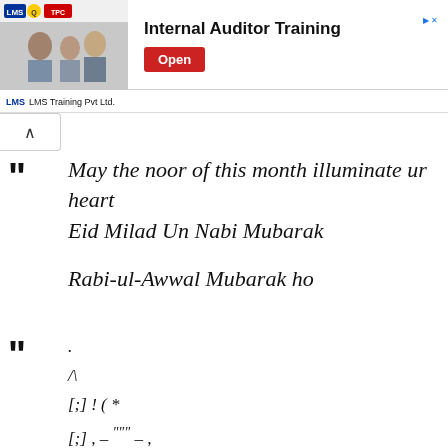[Figure (screenshot): Advertisement banner for Internal Auditor Training by LMS Training Pvt Ltd with an Open button]
May the noor of this month illuminate ur heart
Eid Milad Un Nabi Mubarak

Rabi-ul-Awwal Mubarak ho
.
/\
[;] ! ( *
[;] , – """ – ,
[;].... ,,,,,,,,,,,, ...